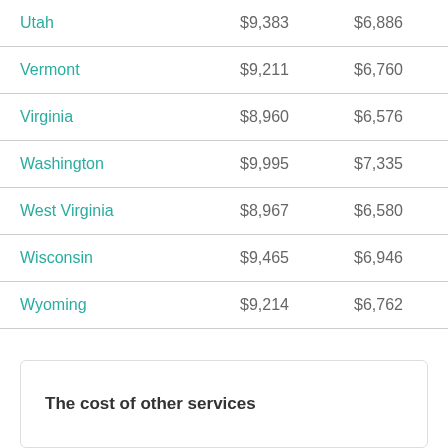| State | Value1 | Value2 |
| --- | --- | --- |
| Utah | $9,383 | $6,886 |
| Vermont | $9,211 | $6,760 |
| Virginia | $8,960 | $6,576 |
| Washington | $9,995 | $7,335 |
| West Virginia | $8,967 | $6,580 |
| Wisconsin | $9,465 | $6,946 |
| Wyoming | $9,214 | $6,762 |
The cost of other services